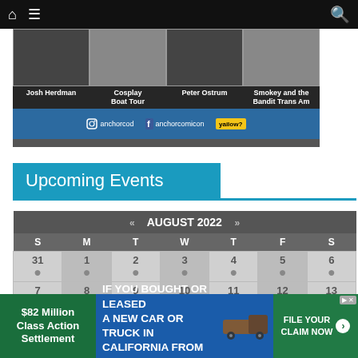Navigation bar with home, menu, and search icons
[Figure (screenshot): Banner image strip showing Josh Herdman, Cosplay Boat Tour, Peter Ostrum, Smokey and the Bandit Trans Am photos with social media handles: anchorcod (Instagram) and anchorcomicon (Facebook)]
Upcoming Events
| S | M | T | W | T | F | S |
| --- | --- | --- | --- | --- | --- | --- |
| 31 | 1 | 2 | 3 | 4 | 5 | 6 |
| 7 | 8 | 9 | 10 | 11 | 12 | 13 |
| 14 | 15 | 16 | 17 | 18 | 19 | 20 |
[Figure (screenshot): Advertisement: $82 Million Class Action Settlement - IF YOU BOUGHT OR LEASED A NEW CAR OR TRUCK IN CALIFORNIA FROM 2001 - 2003 - FILE YOUR CLAIM NOW]